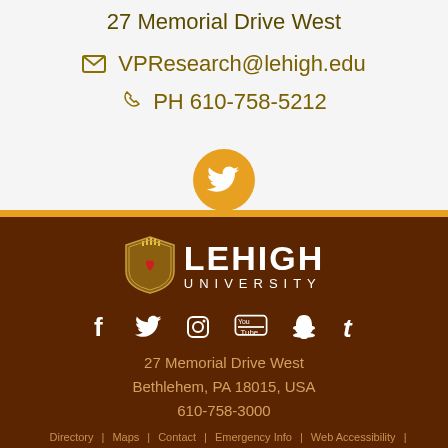27 Memorial Drive West
VPResearch@lehigh.edu
PH 610-758-5212
[Figure (logo): Twitter bird icon in orange/gold circle]
[Figure (logo): Lehigh University shield logo with LEHIGH UNIVERSITY wordmark in white]
[Figure (infographic): Social media icons: Facebook, Twitter, Instagram, YouTube, Snapchat, Tumblr]
27 Memorial Drive West
Bethlehem, PA 18015, USA
610-758-3000
Directory | Maps | Contact | Emergency Info | Web Accessibility |